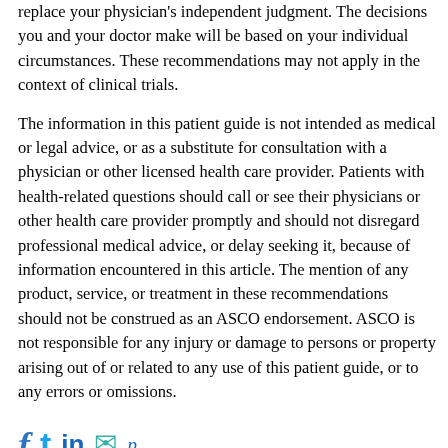replace your physician's independent judgment. The decisions you and your doctor make will be based on your individual circumstances. These recommendations may not apply in the context of clinical trials.
The information in this patient guide is not intended as medical or legal advice, or as a substitute for consultation with a physician or other licensed health care provider. Patients with health-related questions should call or see their physicians or other health care provider promptly and should not disregard professional medical advice, or delay seeking it, because of information encountered in this article. The mention of any product, service, or treatment in these recommendations should not be construed as an ASCO endorsement. ASCO is not responsible for any injury or damage to persons or property arising out of or related to any use of this patient guide, or to any errors or omissions.
[Figure (other): Social media sharing icons: Facebook (f), Twitter (t), LinkedIn (in), Email (envelope), Print (p)]
About Us
More in this section
About Cancer Net